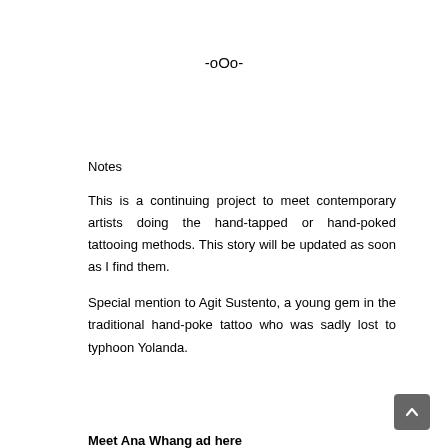-oOo-
Notes
This is a continuing project to meet contemporary artists doing the hand-tapped or hand-poked tattooing methods. This story will be updated as soon as I find them.
Special mention to Agit Sustento, a young gem in the traditional hand-poke tattoo who was sadly lost to typhoon Yolanda.
Meet Ana Whang ad here